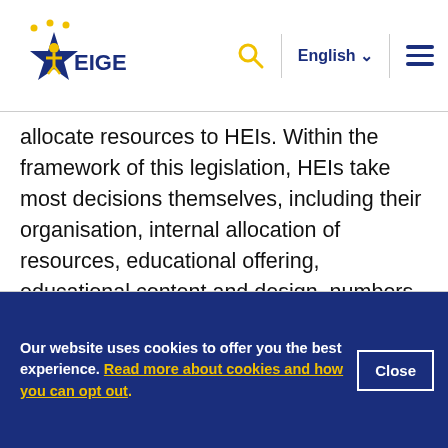EIGE | English
allocate resources to HEIs. Within the framework of this legislation, HEIs take most decisions themselves, including their organisation, internal allocation of resources, educational offering, educational content and design, numbers of students admitted, and research undertaken. HEIs also have significant freedom in staff recruitment and selection.
Our website uses cookies to offer you the best experience. Read more about cookies and how you can opt out.